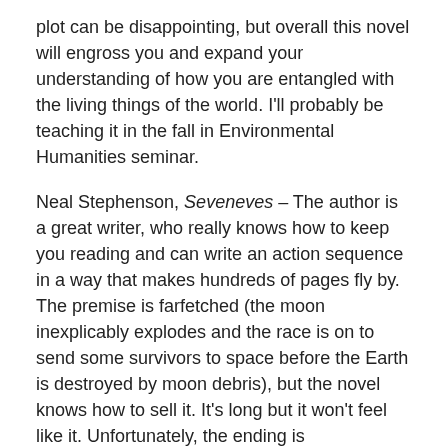plot can be disappointing, but overall this novel will engross you and expand your understanding of how you are entangled with the living things of the world. I'll probably be teaching it in the fall in Environmental Humanities seminar.
Neal Stephenson, Seveneves – The author is a great writer, who really knows how to keep you reading and can write an action sequence in a way that makes hundreds of pages fly by. The premise is farfetched (the moon inexplicably explodes and the race is on to send some survivors to space before the Earth is destroyed by moon debris), but the novel knows how to sell it. It's long but it won't feel like it. Unfortunately, the ending is disappointing and, if I'm not mistaken, the villain seems to be modeled after Hilary Clinton.